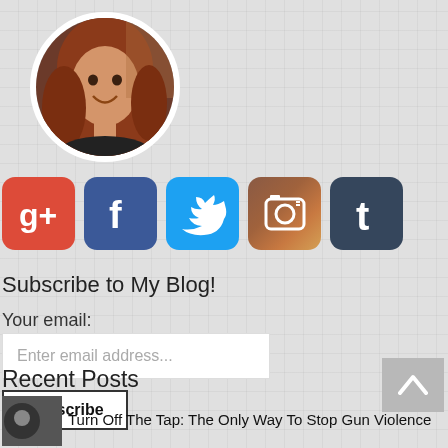[Figure (photo): Circular profile photo of a woman with auburn/red hair smiling, white circular border]
[Figure (infographic): Row of five social media icon buttons: Google+, Facebook, Twitter, Instagram, Tumblr]
Subscribe to My Blog!
Your email:
Enter email address...
Subscribe
Recent Posts
Turn Off The Tap: The Only Way To Stop Gun Violence